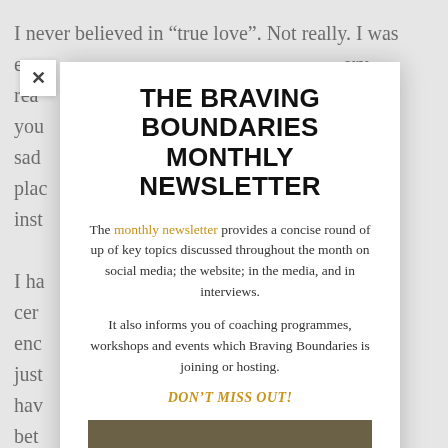I never believed in “true love”. Not really. I was ex… ery rea… you… …ut sad… plac… inst… I ha… …ost cer… …ty enc… just… …n’t hav… bet… par… “sp… just…
[Figure (screenshot): A popup/modal overlay for 'The Braving Boundaries Monthly Newsletter' with a close (X) button, title, descriptive text about the newsletter, and a 'DON'T MISS OUT!' call to action in gold italic text.]
THE BRAVING BOUNDARIES MONTHLY NEWSLETTER
The monthly newsletter provides a concise round of up of key topics discussed throughout the month on social media; the website; in the media, and in interviews.
It also informs you of coaching programmes, workshops and events which Braving Boundaries is joining or hosting.
DON’T MISS OUT!